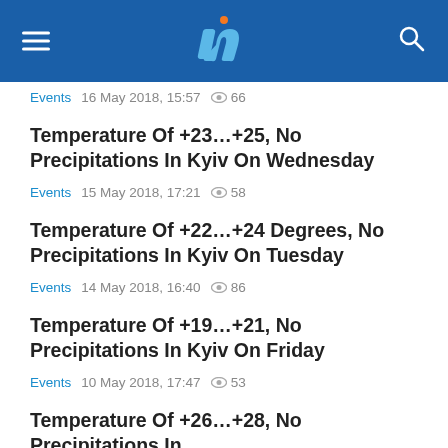[Figure (logo): Website header with hamburger menu, 'IN' logo in blue and white, and search icon on dark blue background]
Events  16 May 2018, 15:57  👁 66
Temperature Of +23...+25, No Precipitations In Kyiv On Wednesday
Events  15 May 2018, 17:21  👁 58
Temperature Of +22...+24 Degrees, No Precipitations In Kyiv On Tuesday
Events  14 May 2018, 16:40  👁 86
Temperature Of +19...+21, No Precipitations In Kyiv On Friday
Events  10 May 2018, 17:47  👁 53
Temperature Of +26...+28, No Precipitations In...